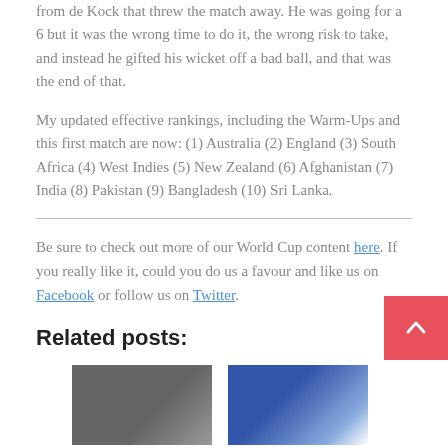from de Kock that threw the match away. He was going for a 6 but it was the wrong time to do it, the wrong risk to take, and instead he gifted his wicket off a bad ball, and that was the end of that.
My updated effective rankings, including the Warm-Ups and this first match are now: (1) Australia (2) England (3) South Africa (4) West Indies (5) New Zealand (6) Afghanistan (7) India (8) Pakistan (9) Bangladesh (10) Sri Lanka.
Be sure to check out more of our World Cup content here. If you really like it, could you do us a favour and like us on Facebook or follow us on Twitter.
Related posts:
[Figure (photo): Thumbnail image 1 - cricket related photo (dark tones)]
[Figure (photo): Thumbnail image 2 - cricket related photo (blue/white tones)]